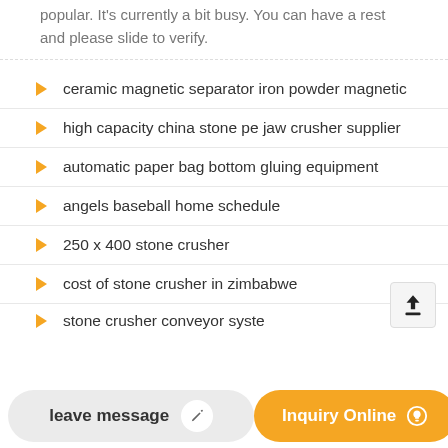popular. It's currently a bit busy. You can have a rest and please slide to verify.
ceramic magnetic separator iron powder magnetic
high capacity china stone pe jaw crusher supplier
automatic paper bag bottom gluing equipment
angels baseball home schedule
250 x 400 stone crusher
cost of stone crusher in zimbabwe
stone crusher conveyor syste